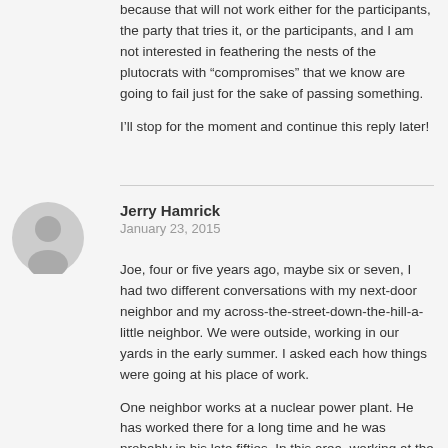because that will not work either for the participants, the party that tries it, or the participants, and I am not interested in feathering the nests of the plutocrats with “compromises” that we know are going to fail just for the sake of passing something.
I’ll stop for the moment and continue this reply later!
Jerry Hamrick
January 23, 2015
Joe, four or five years ago, maybe six or seven, I had two different conversations with my next-door neighbor and my across-the-street-down-the-hill-a-little neighbor. We were outside, working in our yards in the early summer. I asked each how things were going at his place of work.
One neighbor works at a nuclear power plant. He has worked there for a long time and he was probably in his late fifties. In this area, working at the power plant is regarded as a really good thing. The pay is good and the retirement plan is even better. I specifically asked him about a planned renovation at the